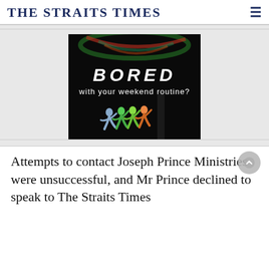THE STRAITS TIMES
[Figure (illustration): Advertisement image with dark background showing 'BORED with your weekend routine?' text and colorful dancers in neon costumes]
Attempts to contact Joseph Prince Ministries were unsuccessful, and Mr Prince declined to speak to The Straits Times